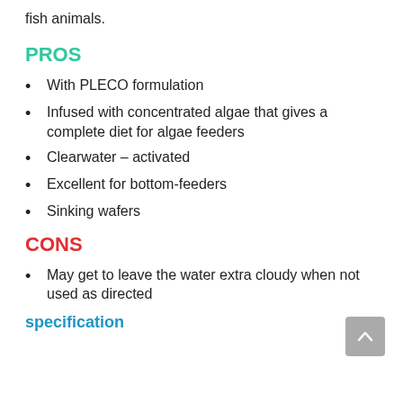fish animals.
PROS
With PLECO formulation
Infused with concentrated algae that gives a complete diet for algae feeders
Clearwater – activated
Excellent for bottom-feeders
Sinking wafers
CONS
May get to leave the water extra cloudy when not used as directed
specification